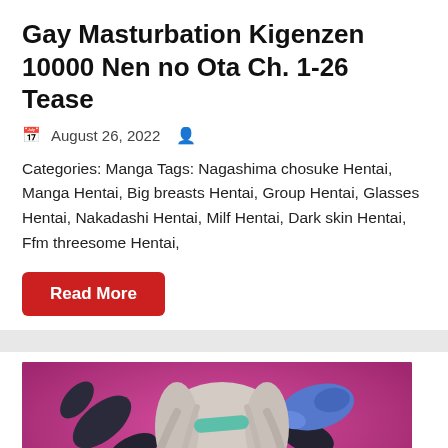Gay Masturbation Kigenzen 10000 Nen no Ota Ch. 1-26 Tease
August 26, 2022
Categories: Manga Tags: Nagashima chosuke Hentai, Manga Hentai, Big breasts Hentai, Group Hentai, Glasses Hentai, Nakadashi Hentai, Milf Hentai, Dark skin Hentai, Ffm threesome Hentai,
Read More
[Figure (illustration): Anime/manga character illustration with pink/purple background showing a character with silver-white hair, blue accessories, wearing dark outfit]